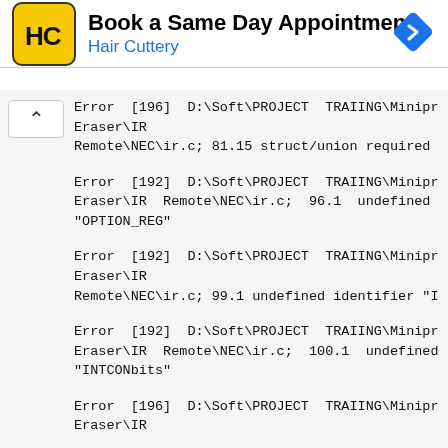[Figure (logo): Hair Cuttery logo: yellow square with rounded corners, HC letters in black]
Book a Same Day Appointment
Hair Cuttery
Error [196] D:\Soft\PROJECT TRAIING\Miniproject\Board Eraser\IR Remote\NEC\ir.c; 81.15 struct/union required
Error [192] D:\Soft\PROJECT TRAIING\Miniproject\Board Eraser\IR Remote\NEC\ir.c; 96.1 undefined identifier "OPTION_REG"
Error [192] D:\Soft\PROJECT TRAIING\Miniproject\Board Eraser\IR Remote\NEC\ir.c; 99.1 undefined identifier "IOC"
Error [192] D:\Soft\PROJECT TRAIING\Miniproject\Board Eraser\IR Remote\NEC\ir.c; 100.1 undefined identifier "INTCONbits"
Error [196] D:\Soft\PROJECT TRAIING\Miniproject\Board Eraser\IR Remote\NEC\ir.c; 100.17 struct/union required